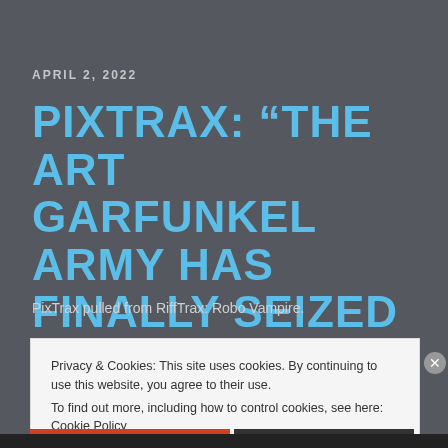APRIL 2, 2022
PIXTRAX: “THE ART GARFUNKEL ARMY HAS FINALLY SEIZED POWER.”
PixTrax pulled from RiffTrax: Robo Vampire.
Privacy & Cookies: This site uses cookies. By continuing to use this website, you agree to their use.
To find out more, including how to control cookies, see here: Cookie Policy
Close and accept